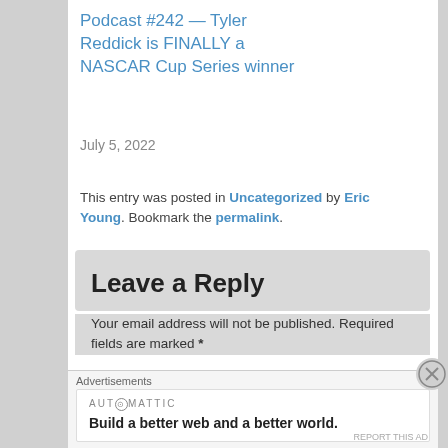Podcast #242 — Tyler Reddick is FINALLY a NASCAR Cup Series winner
July 5, 2022
This entry was posted in Uncategorized by Eric Young. Bookmark the permalink.
Leave a Reply
Your email address will not be published. Required fields are marked *
Comment *
Advertisements
AUTOMATTIC
Build a better web and a better world.